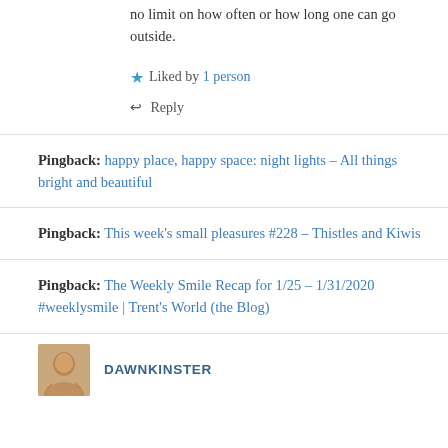no limit on how often or how long one can go outside.
★ Liked by 1 person
↩ Reply
Pingback: happy place, happy space: night lights – All things bright and beautiful
Pingback: This week's small pleasures #228 – Thistles and Kiwis
Pingback: The Weekly Smile Recap for 1/25 – 1/31/2020 #weeklysmile | Trent's World (the Blog)
DAWNKINSTER